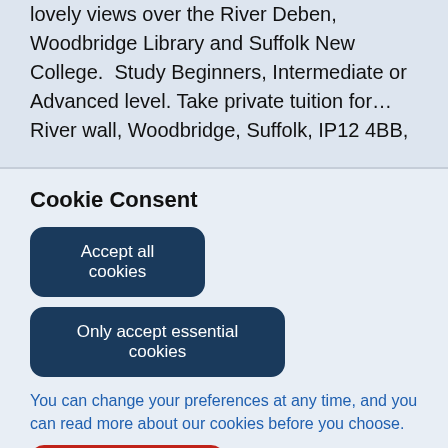lovely views over the River Deben, Woodbridge Library and Suffolk New College.  Study Beginners, Intermediate or Advanced level. Take private tuition for…
River wall, Woodbridge, Suffolk, IP12 4BB,
Cookie Consent
Accept all cookies
Only accept essential cookies
You can change your preferences at any time, and you can read more about our cookies before you choose.
Leave Website